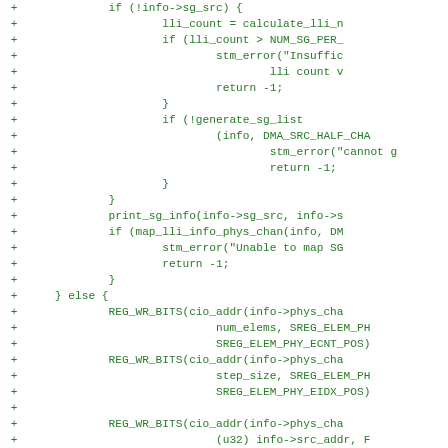[Figure (other): A diff/patch view of source code showing added lines (marked with '+') in green monospace font. The code shows C-like programming constructs including if statements, function calls like calculate_lli, generate_sg_list, print_sg_info, map_lli_info_phys_chan, stm_error, REG_WR_BITS, and various identifiers related to DMA, scatter-gather lists, and memory-mapped registers.]